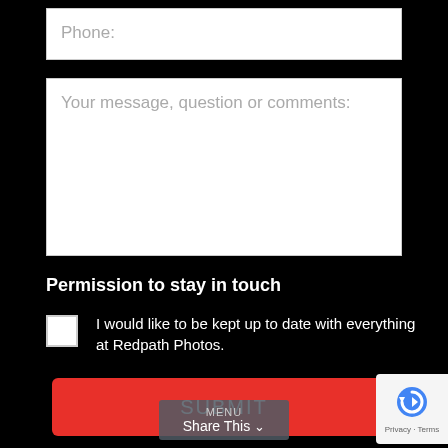Phone:
Your message, question or comments:
Permission to stay in touch
I would like to be kept up to date with everything at Redpath Photos.
SUBMIT
MENU Share This
[Figure (other): reCAPTCHA privacy badge with blue circular arrow icon and Privacy · Terms text]